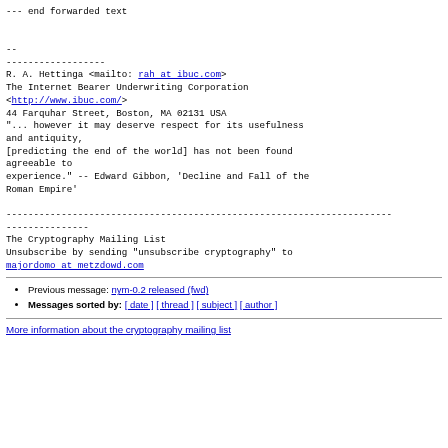--- end forwarded text

--
------------------
R. A. Hettinga <mailto: rah at ibuc.com>
The Internet Bearer Underwriting Corporation
<http://www.ibuc.com/>
44 Farquhar Street, Boston, MA 02131 USA
"... however it may deserve respect for its usefulness and antiquity,
[predicting the end of the world] has not been found agreeable to
experience." -- Edward Gibbon, 'Decline and Fall of the Roman Empire'

----------------------------------------------------------------------
---------------
The Cryptography Mailing List
Unsubscribe by sending "unsubscribe cryptography" to
majordomo at metzdowd.com
Previous message: nym-0.2 released (fwd)
Messages sorted by: [ date ] [ thread ] [ subject ] [ author ]
More information about the cryptography mailing list